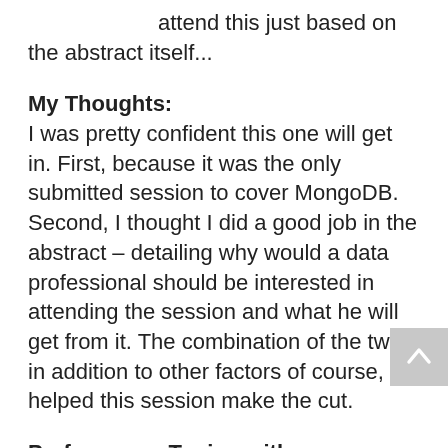attend this just based on the abstract itself...
My Thoughts:
I was pretty confident this one will get in. First, because it was the only submitted session to cover MongoDB. Second, I thought I did a good job in the abstract – detailing why would a data professional should be interested in attending the session and what he will get from it. The combination of the two, in addition to other factors of course, helped this session make the cut.
Performance Tuning with Management Studio Code Snippets:
Length: Regular Session